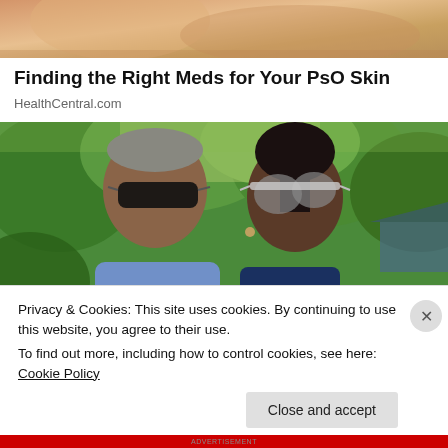[Figure (photo): Partial top image showing skin/hand - advertisement image top crop]
Finding the Right Meds for Your PsO Skin
HealthCentral.com
[Figure (photo): Photo of a man and woman wearing sunglasses outdoors with green trees and vegetation in background]
Privacy & Cookies: This site uses cookies. By continuing to use this website, you agree to their use.
To find out more, including how to control cookies, see here: Cookie Policy
Close and accept